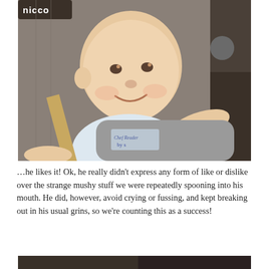[Figure (photo): A smiling baby sitting in a Chicco high chair or infant seat, with a seatbelt strap across the chest. The baby is wearing a white outfit and has a content, grinning expression. The background shows a domestic interior.]
…he likes it! Ok, he really didn't express any form of like or dislike over the strange mushy stuff we were repeatedly spooning into his mouth. He did, however, avoid crying or fussing, and kept breaking out in his usual grins, so we're counting this as a success!
[Figure (photo): Partial view of another photo at the bottom of the page, showing a dark scene, cropped.]